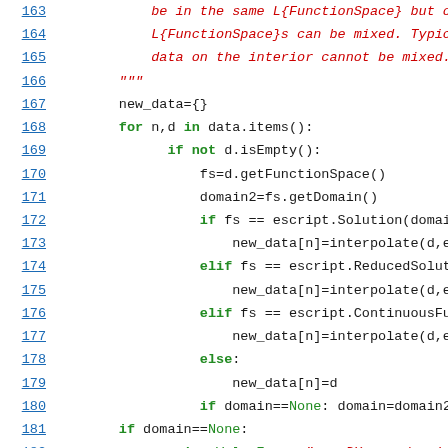Source code listing lines 163–184, Python code for saveDX function